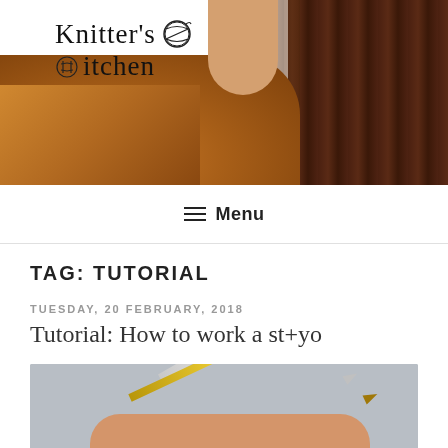[Figure (photo): Blog header photo showing a woman wearing a mustard/orange knitted sweater against a dark wood background, with the Knitter's Kitchen logo overlaid in the top left]
≡ Menu
TAG: TUTORIAL
TUESDAY, 20 FEBRUARY, 2018
Tutorial: How to work a st+yo
[Figure (photo): Close-up photo of hands holding knitting needles demonstrating a knitting technique, with a gray background]